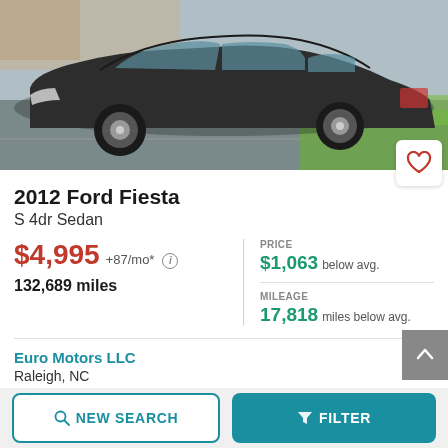[Figure (photo): Dark gray 2012 Ford Fiesta S 4dr Sedan parked in a parking lot, side/front view, photographed outdoors on asphalt with grass visible in background.]
2012 Ford Fiesta
S 4dr Sedan
$4,995 +87/mo* ℹ  132,689 miles
PRICE $1,063 below avg.
MILEAGE 17,818 miles below avg.
Euro Motors LLC
Raleigh, NC
Get a Free Vehicle History Report